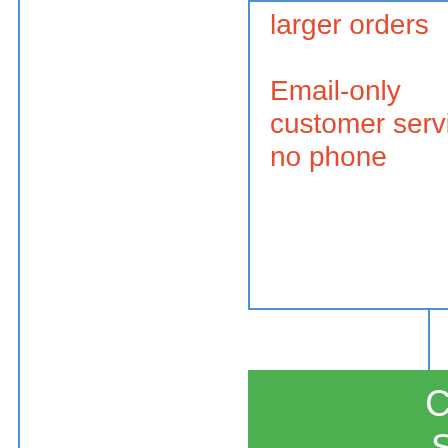larger orders

Email-only customer service; no phone
CLICK HERE To Start Increasing Your Testosterone With Prime Male!